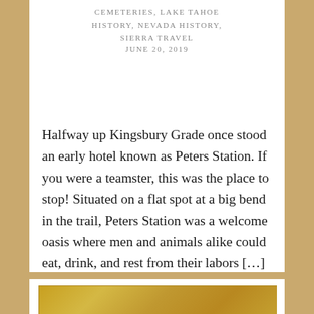CEMETERIES, LAKE TAHOE HISTORY, NEVADA HISTORY, SIERRA TRAVEL JUNE 20, 2019
Halfway up Kingsbury Grade once stood an early hotel known as Peters Station. If you were a teamster, this was the place to stop! Situated on a flat spot at a big bend in the trail, Peters Station was a welcome oasis where men and animals alike could eat, drink, and rest from their labors […]
[Figure (photo): Partial view of a historical photograph with yellowed/sepia tones, showing the top corner of what appears to be an old document or photograph with decorative border.]